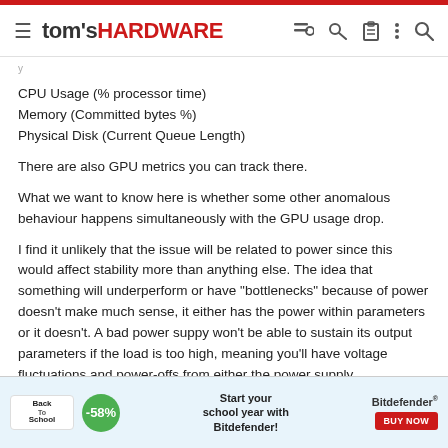tom's HARDWARE
CPU Usage (% processor time)
Memory (Committed bytes %)
Physical Disk (Current Queue Length)
There are also GPU metrics you can track there.
What we want to know here is whether some other anomalous behaviour happens simultaneously with the GPU usage drop.
I find it unlikely that the issue will be related to power since this would affect stability more than anything else. The idea that something will underperform or have "bottlenecks" because of power doesn't make much sense, it either has the power within parameters or it doesn't. A bad power suppy won't be able to sustain its output parameters if the load is too high, meaning you'll have voltage fluctuations and power-offs from either the power supply
[Figure (advertisement): Back to School Bitdefender advertisement banner with -58% discount badge and BUY NOW button]